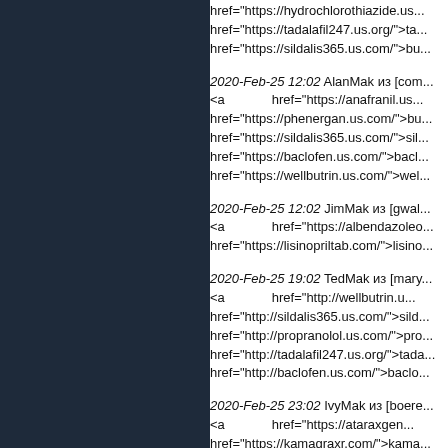href="https://hydrochlorothiazide.us... href="https://tadalafil247.us.org/">ta... href="https://sildalis365.us.com/">bu...
2020-Feb-25 12:02 AlanMak из [com... <a href="https://anafranil.us... href="https://phenergan.us.com/">bu... href="https://sildalis365.us.com/">sil... href="https://baclofen.us.com/">bacl... href="https://wellbutrin.us.com/">wel...
2020-Feb-25 12:02 JimMak из [gwal... <a href="https://albendazoleo... href="https://lisinopriltab.com/">lisino...
2020-Feb-25 19:02 TedMak из [mary... <a href="http://wellbutrin.u... href="http://sildalis365.us.com/">sild... href="http://propranolol.us.com/">pro... href="http://tadalafil247.us.org/">tada... href="http://baclofen.us.com/">baclo...
2020-Feb-25 23:02 IvyMak из [boere... <a href="https://ataraxgen... href="https://kamagraxr.com/">kama...